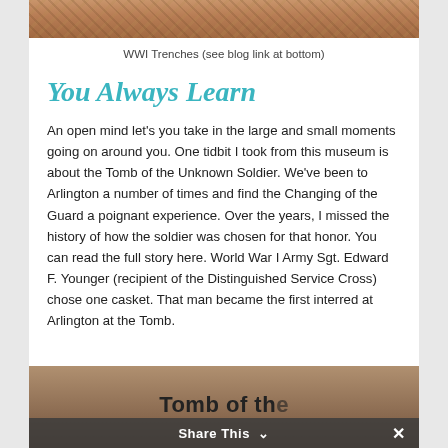[Figure (photo): Top portion of a WWI Trenches photo, cropped at top of page]
WWI Trenches (see blog link at bottom)
You Always Learn
An open mind let's you take in the large and small moments going on around you. One tidbit I took from this museum is about the Tomb of the Unknown Soldier. We've been to Arlington a number of times and find the Changing of the Guard a poignant experience. Over the years, I missed the history of how the soldier was chosen for that honor. You can read the full story here. World War I Army Sgt. Edward F. Younger (recipient of the Distinguished Service Cross) chose one casket. That man became the first interred at Arlington at the Tomb.
[Figure (photo): Bottom photo showing Tomb of the with overlay Share This bar]
Share This ∨  ×